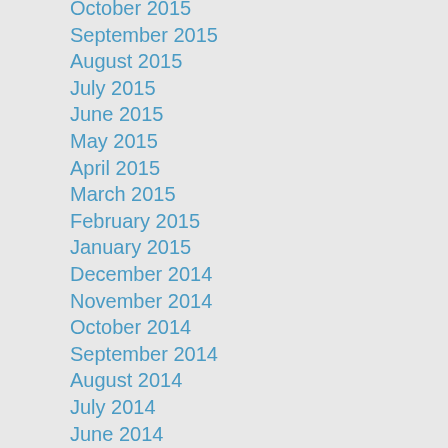October 2015
September 2015
August 2015
July 2015
June 2015
May 2015
April 2015
March 2015
February 2015
January 2015
December 2014
November 2014
October 2014
September 2014
August 2014
July 2014
June 2014
May 2014
April 2014
March 2014
February 2014